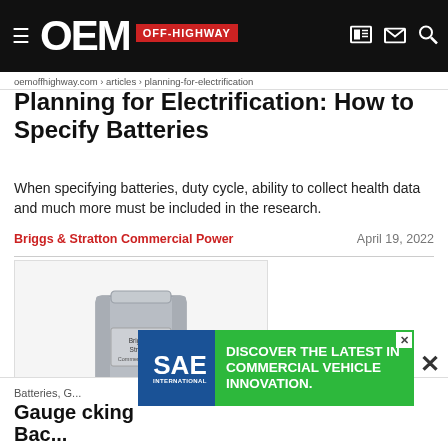OEM OFF-HIGHWAY
Planning for Electrification: How to Specify Batteries
When specifying batteries, duty cycle, ability to collect health data and much more must be included in the research.
Briggs & Stratton Commercial Power    April 19, 2022
[Figure (photo): Gray rectangular battery pack unit on white background]
Batteries, G...
Gauge ... cking Bac...
[Figure (other): SAE International advertisement banner: DISCOVER THE LATEST IN COMMERCIAL VEHICLE INNOVATION.]